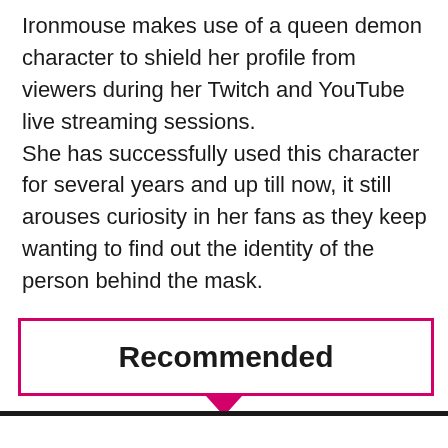Ironmouse makes use of a queen demon character to shield her profile from viewers during her Twitch and YouTube live streaming sessions. She has successfully used this character for several years and up till now, it still arouses curiosity in her fans as they keep wanting to find out the identity of the person behind the mask.
Recommended